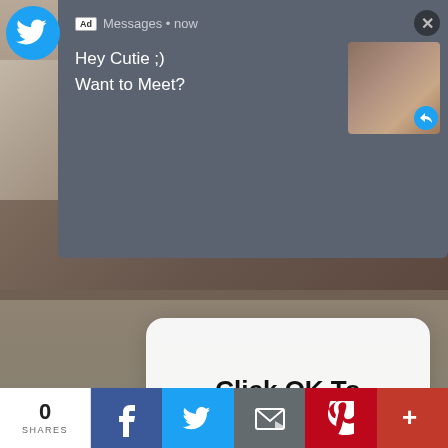[Figure (screenshot): Screenshot of a mobile Twitter feed with a dark notification overlay showing 'Ad Messages • now' with text 'Hey Cutie ;) Want to Meet?', a thumbnail image, a white modal dialog saying 'Click OK To Continue' with an OK button, a video player overlay showing 'THIS DAY IN HISTORY', and a bottom social share bar with 0 SHARES, Facebook, Twitter, email, Pinterest, and more buttons.]
Ad  Messages • now
Hey Cutie ;)
Want to Meet?
Click OK To Continue
OK
THIS DAY IN HISTORY
Layton William
Will C
@Wi
4 day
2  0  88  Download
AUGUST
0 SHARES